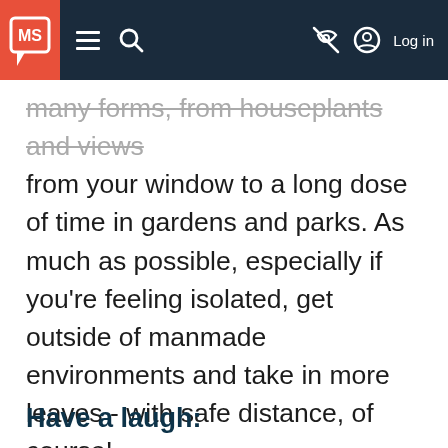MS [logo] | navigation bar with hamburger menu, search, eye-off icon, account icon, Log in
many forms, from houseplants and views from your window to a long dose of time in gardens and parks. As much as possible, especially if you're feeling isolated, get outside of manmade environments and take in more leaves - with safe distance, of course!
Have a laugh: